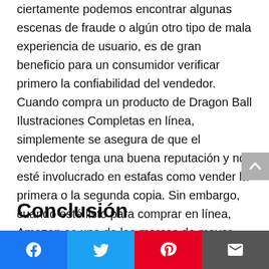ciertamente podemos encontrar algunas escenas de fraude o algún otro tipo de mala experiencia de usuario, es de gran beneficio para un consumidor verificar primero la confiabilidad del vendedor. Cuando compra un producto de Dragon Ball Ilustraciones Completas en línea, simplemente se asegura de que el vendedor tenga una buena reputación y no esté involucrado en estafas como vender la primera o la segunda copia. Sin embargo, cuando esté listo para comprar en línea, Amazon es una de las marcas de mayor reputación que le brinda mucha confianza y credibilidad.
Conclusión
Facebook | Twitter | Pinterest | Email